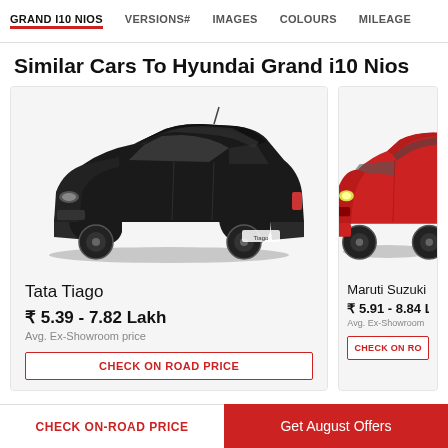GRAND I10 NIOS  VERSIONS#  IMAGES  COLOURS  MILEAGE
Similar Cars To Hyundai Grand i10 Nios
[Figure (photo): Black Tata Tiago hatchback car, side-front view]
Tata Tiago
₹ 5.39 - 7.82 Lakh
Avg. Ex-Showroom price
CHECK ON ROAD PRICE
[Figure (photo): Red Maruti Suzuki hatchback car, partial side-front view]
Maruti Suzuki
₹ 5.91 - 8.84 L
Avg. Ex-Showroom
CHECK ON RO
CHECK ON-ROAD PRICE   Get August Offers